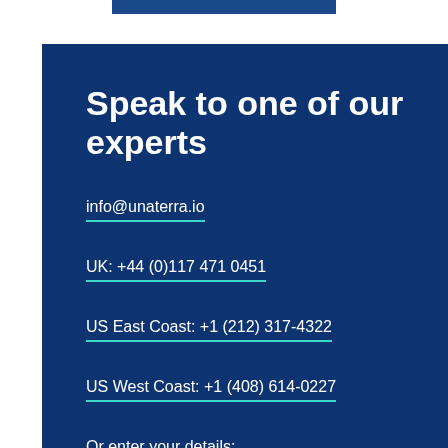Speak to one of our experts
info@unaterra.io
UK: +44 (0)117 471 0451
US East Coast: +1 (212) 317-4322
US West Coast: +1 (408) 614-0227
Or enter your details: